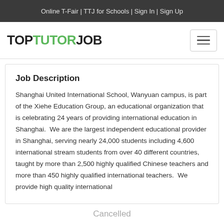Online T-Fair | TTJ for Schools | Sign In | Sign Up
TOP TUTOR JOB
Job Description
Shanghai United International School, Wanyuan campus, is part of the Xiehe Education Group, an educational organization that is celebrating 24 years of providing international education in Shanghai.  We are the largest independent educational provider in Shanghai, serving nearly 24,000 students including 4,600 international stream students from over 40 different countries, taught by more than 2,500 highly qualified Chinese teachers and more than 450 highly qualified international teachers.  We provide high quality international
Cancelled